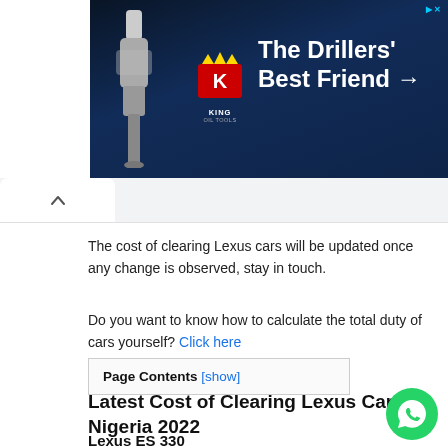[Figure (other): King Oil Tools advertisement banner with dark blue background showing a drill machine, King logo with crown and red K, and text 'The Drillers' Best Friend →']
The cost of clearing Lexus cars will be updated once any change is observed, stay in touch.
Do you want to know how to calculate the total duty of cars yourself? Click here
Page Contents [show]
Latest Cost of Clearing Lexus Cars in Nigeria 2022
Lexus ES 330